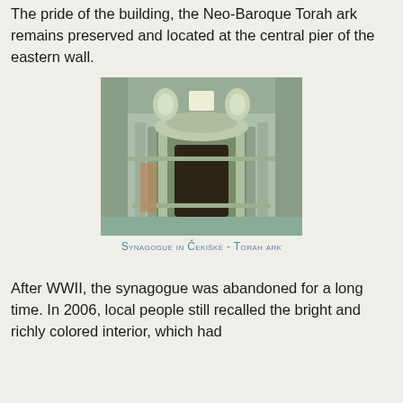The pride of the building, the Neo-Baroque Torah ark remains preserved and located at the central pier of the eastern wall.
[Figure (photo): Interior photograph of the Torah ark in the Synagogue in Čekiškė, showing a Neo-Baroque stone ark with columns, arched niches, and ornate carved decorations, appearing weathered and aged.]
Synagogue in Čekiškė - Torah ark
After WWII, the synagogue was abandoned for a long time. In 2006, local people still recalled the bright and richly colored interior, which had